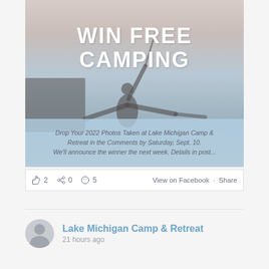[Figure (photo): Promotional image for Lake Michigan Camp & Retreat contest. Shows silhouette of person with arms raised holding a rope against a sunset/lake background. Large white bold text reads 'WIN FREE CAMPING'. Blue-tinted lower band with italic text: 'Drop Your 2022 Photos Taken at Lake Michigan Camp & Retreat in the Comments by Saturday, Sept. 10. We'll announce the winner the next week. Details in post...']
2  0  5   View on Facebook · Share
Lake Michigan Camp & Retreat
21 hours ago